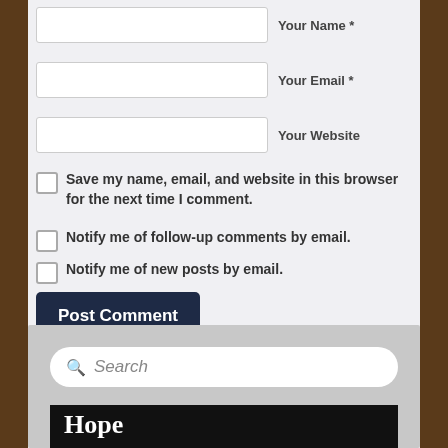Your Name *
Your Email *
Your Website
Save my name, email, and website in this browser for the next time I comment.
Notify me of follow-up comments by email.
Notify me of new posts by email.
Post Comment
Search
Hope